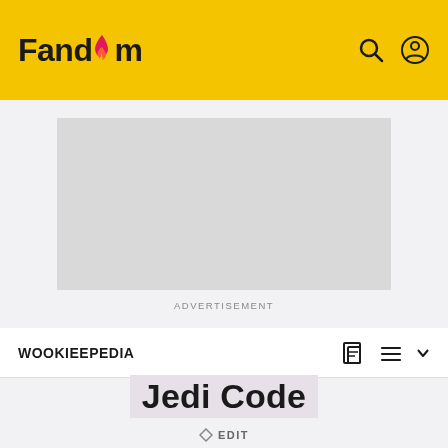Fandom
[Figure (other): Gray advertisement placeholder rectangle]
ADVERTISEMENT
WOOKIEEPEDIA
Jedi Code
EDIT